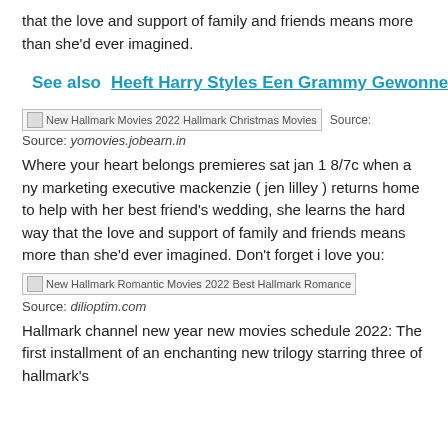that the love and support of family and friends means more than she'd ever imagined.
See also  Heeft Harry Styles Een Grammy Gewonnen
[Figure (photo): Broken image placeholder labeled 'New Hallmark Movies 2022 Hallmark Christmas Movies']
Source: yomovies.jobearn.in
Where your heart belongs premieres sat jan 1 8/7c when a ny marketing executive mackenzie ( jen lilley ) returns home to help with her best friend's wedding, she learns the hard way that the love and support of family and friends means more than she'd ever imagined. Don't forget i love you:
[Figure (photo): Broken image placeholder labeled 'New Hallmark Romantic Movies 2022 Best Hallmark Romance']
Source: dilioptim.com
Hallmark channel new year new movies schedule 2022: The first installment of an enchanting new trilogy starring three of hallmark's